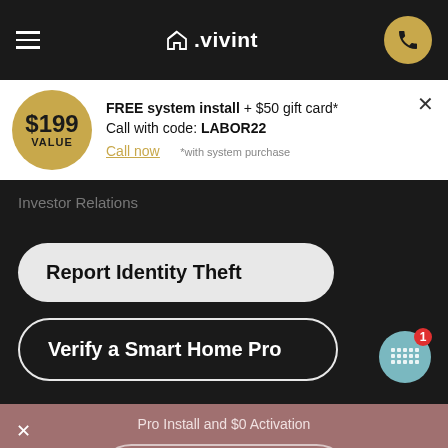[Figure (screenshot): Vivint smart home website screenshot showing navigation bar with hamburger menu, Vivint logo, and phone button]
FREE system install + $50 gift card* Call with code: LABOR22
$199 VALUE
Call now  *with system purchase
Investor Relations
Report Identity Theft
Verify a Smart Home Pro
Pro Install and $0 Activation
206.889.5033